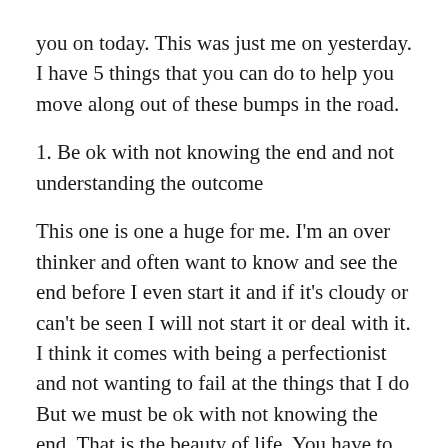you on today. This was just me on yesterday. I have 5 things that you can do to help you move along out of these bumps in the road.
1. Be ok with not knowing the end and not understanding the outcome
This one is one a huge for me. I'm an over thinker and often want to know and see the end before I even start it and if it's cloudy or can't be seen I will not start it or deal with it. I think it comes with being a perfectionist and not wanting to fail at the things that I do But we must be ok with not knowing the end. That is the beauty of life. You have to go through things to gain understanding and knowledge. Book knowledge and youtube vids are good resources but sometimes you have to actually go through it yourself so that you can experience it up close